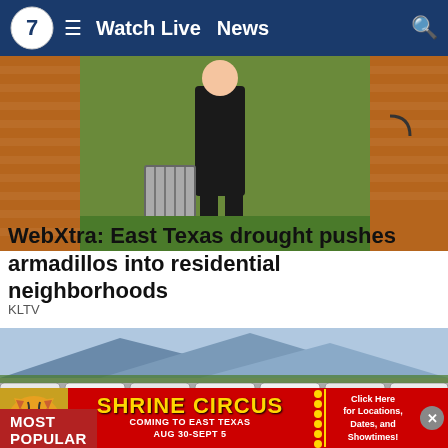Watch Live  News
[Figure (photo): Person standing on grass near brick wall with animal trap]
MOST POPULAR
WebXtra: East Texas drought pushes armadillos into residential neighborhoods
KLTV
[Figure (photo): Large parking lot full of white vehicles with mountain backdrop]
[Figure (infographic): Shrine Circus advertisement banner: SHRINE CIRCUS COMING TO EAST TEXAS AUG 30-SEPT 5 Click Here for Locations, Dates, and Showtimes!]